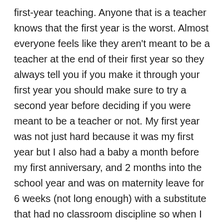first-year teaching. Anyone that is a teacher knows that the first year is the worst. Almost everyone feels like they aren't meant to be a teacher at the end of their first year so they always tell you if you make it through your first year you should make sure to try a second year before deciding if you were meant to be a teacher or not. My first year was not just hard because it was my first year but I also had a baby a month before my first anniversary, and 2 months into the school year and was on maternity leave for 6 weeks (not long enough) with a substitute that had no classroom discipline so when I returned trying to control my students was a nightmare. I came home every day saying how much I hated my job, how I didn't want to go back the next day, even though I loved teaching and loved the students I worked with, I could only see how bad I was at it. I felt like I was a terrible teacher, that all my students hated me, and that